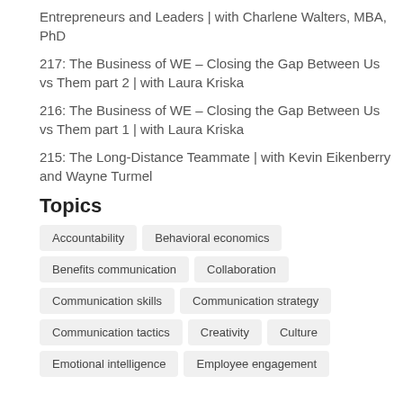Entrepreneurs and Leaders | with Charlene Walters, MBA, PhD
217: The Business of WE – Closing the Gap Between Us vs Them part 2 | with Laura Kriska
216: The Business of WE – Closing the Gap Between Us vs Them part 1 | with Laura Kriska
215: The Long-Distance Teammate | with Kevin Eikenberry and Wayne Turmel
Topics
Accountability
Behavioral economics
Benefits communication
Collaboration
Communication skills
Communication strategy
Communication tactics
Creativity
Culture
Emotional intelligence
Employee engagement